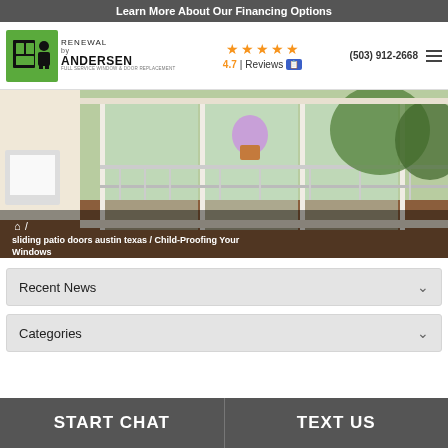Learn More About Our Financing Options
[Figure (logo): Renewal by Andersen full-service window & door replacement logo with installer icon]
4.7 | Reviews  (503) 912-2668
[Figure (photo): Interior view of a home with large sliding white-framed windows and doors opening to an outdoor deck with railing and trees]
sliding patio doors austin texas / Child-Proofing Your Windows
Recent News
Categories
START CHAT
TEXT US